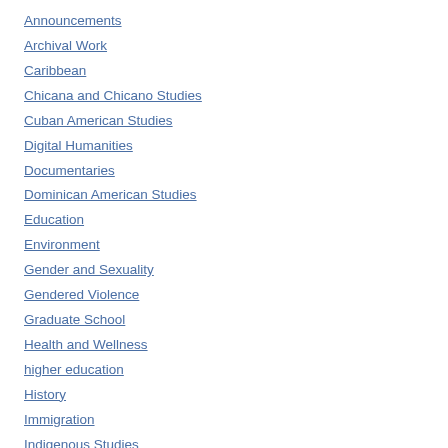Announcements
Archival Work
Caribbean
Chicana and Chicano Studies
Cuban American Studies
Digital Humanities
Documentaries
Dominican American Studies
Education
Environment
Gender and Sexuality
Gendered Violence
Graduate School
Health and Wellness
higher education
History
Immigration
Indigenous Studies